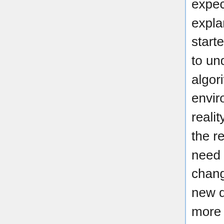expectations. This is the predictive coding explanation for how the brain works. This theory started from researchers trying to teach a computer to understand images that are fed into it. Its algorithm tries to make predictions about the environment and them compares the predictions to reality, just the way that humans learn to navigate in the real-wold, and now in the digital world. Designers need to be aware of this learning pattern and avoid changes that cause anxiety in users by testing the new designs to see how real users react. Nothing is more frustrating to a user that to have an update to an often used interface suddenly make it behave in unexpected ways. The user's response is unlikely to match the expected response of the designer's and developers.[6]